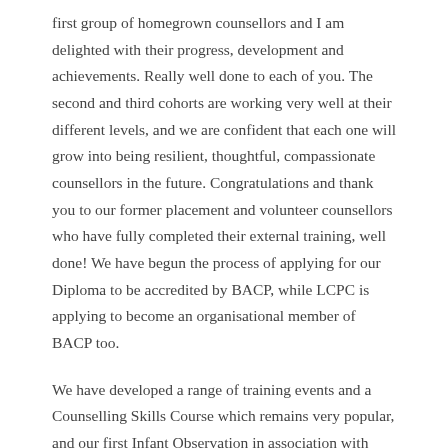first group of homegrown counsellors and I am delighted with their progress, development and achievements. Really well done to each of you. The second and third cohorts are working very well at their different levels, and we are confident that each one will grow into being resilient, thoughtful, compassionate counsellors in the future. Congratulations and thank you to our former placement and volunteer counsellors who have fully completed their external training, well done! We have begun the process of applying for our Diploma to be accredited by BACP, while LCPC is applying to become an organisational member of BACP too.
We have developed a range of training events and a Counselling Skills Course which remains very popular, and our first Infant Observation in association with APPCIOS is due to start early next year. Please check